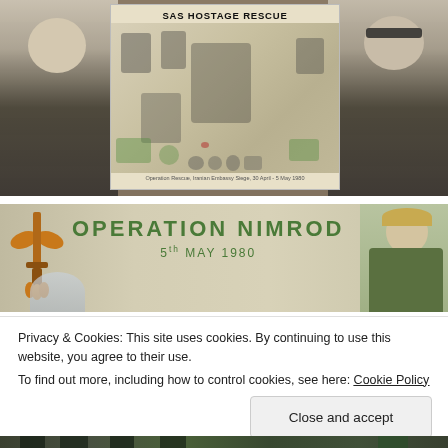[Figure (photo): Two men in black polo shirts standing on either side of an illustrated poster titled 'SAS HOSTAGE RESCUE' against a stone wall background]
[Figure (photo): Illustrated artwork showing 'OPERATION NIMROD 5th MAY 1980' with SAS winged dagger emblem on the left and a military figure on the right, on a beige background]
Privacy & Cookies: This site uses cookies. By continuing to use this website, you agree to their use.
To find out more, including how to control cookies, see here: Cookie Policy
[Figure (photo): Bottom strip showing military figures in camouflage gear]